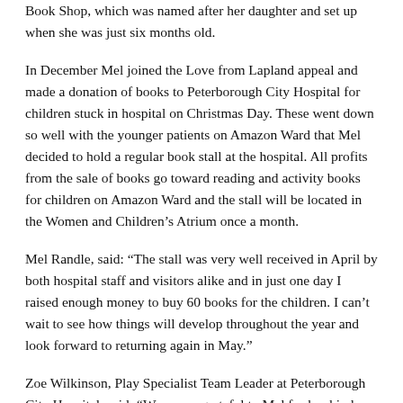Book Shop, which was named after her daughter and set up when she was just six months old.
In December Mel joined the Love from Lapland appeal and made a donation of books to Peterborough City Hospital for children stuck in hospital on Christmas Day. These went down so well with the younger patients on Amazon Ward that Mel decided to hold a regular book stall at the hospital. All profits from the sale of books go toward reading and activity books for children on Amazon Ward and the stall will be located in the Women and Children's Atrium once a month.
Mel Randle, said: “The stall was very well received in April by both hospital staff and visitors alike and in just one day I raised enough money to buy 60 books for the children. I can't wait to see how things will develop throughout the year and look forward to returning again in May.”
Zoe Wilkinson, Play Specialist Team Leader at Peterborough City Hospital, said: “We are so grateful to Mel for her kind